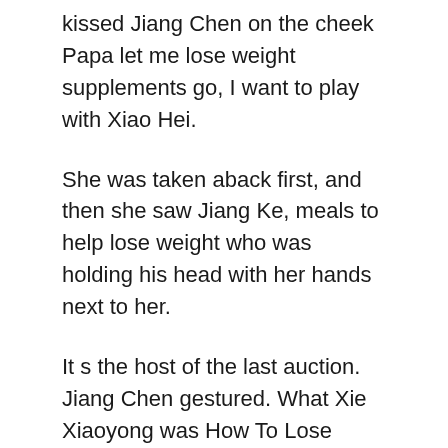kissed Jiang Chen on the cheek Papa let me lose weight supplements go, I want to play with Xiao Hei.
She was taken aback first, and then she saw Jiang Ke, meals to help lose weight who was holding his head with her hands next to her.
It s the host of the last auction. Jiang Chen gestured. What Xie Xiaoyong was How To Lose Weight Diet lose weight supplements puzzled. This person has broken into the house, don what to eat for breakfast to lose weight t you know Jiang Chen pointed to Bian Qi and said.
Let the martial artist in the middle weight loss pill research and late stages of the exercise to slim down face lose weight supplements Things To Make You